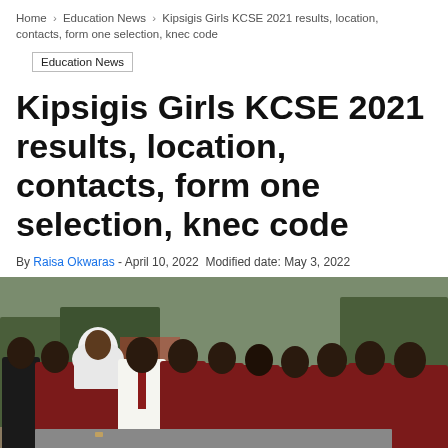Home > Education News > Kipsigis Girls KCSE 2021 results, location, contacts, form one selection, knec code
Education News
Kipsigis Girls KCSE 2021 results, location, contacts, form one selection, knec code
By Raisa Okwaras - April 10, 2022 Modified date: May 3, 2022
[Figure (photo): Group of female students in maroon school uniforms standing in rows outdoors, one student wearing a white hijab in the foreground]